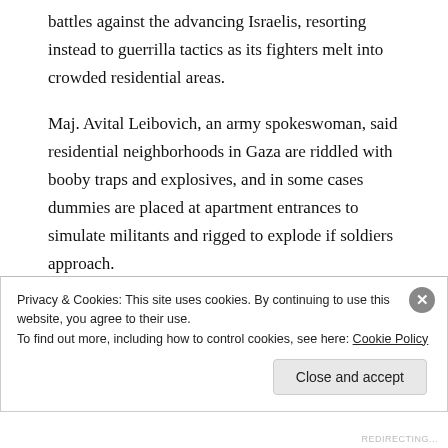battles against the advancing Israelis, resorting instead to guerrilla tactics as its fighters melt into crowded residential areas.
Maj. Avital Leibovich, an army spokeswoman, said residential neighborhoods in Gaza are riddled with booby traps and explosives, and in some cases dummies are placed at apartment entrances to simulate militants and rigged to explode if soldiers approach.
Hamas, at least publicly, has vowed to continue fighting
Privacy & Cookies: This site uses cookies. By continuing to use this website, you agree to their use.
To find out more, including how to control cookies, see here: Cookie Policy
Close and accept
REDIRECTING...